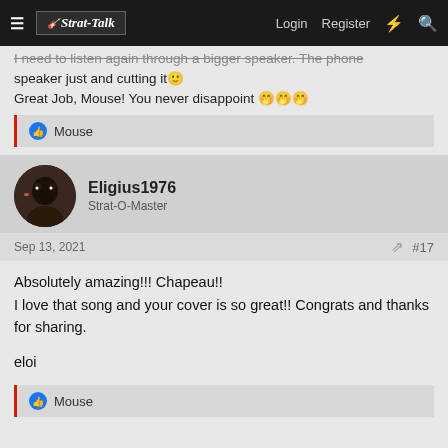Strat-Talk | Login | Register
I need to listen again through a bigger speaker. The phone speaker just and cutting it 🙂
Great Job, Mouse! You never disappoint 🤭🤭🤭
👍 Mouse
Eligius1976
Strat-O-Master
Sep 13, 2021
#17
Absolutely amazing!!! Chapeau!!
I love that song and your cover is so great!! Congrats and thanks for sharing.

eloi
👍 Mouse